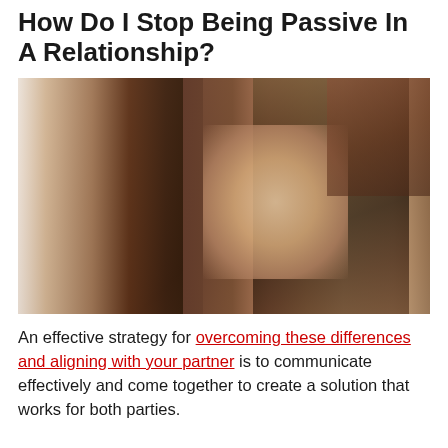How Do I Stop Being Passive In A Relationship?
[Figure (photo): A couple touching foreheads intimately, the woman smiling with eyes closed, both in close embrace. The woman has long dark hair; the man has short light brown hair.]
An effective strategy for overcoming these differences and aligning with your partner is to communicate effectively and come together to create a solution that works for both parties.